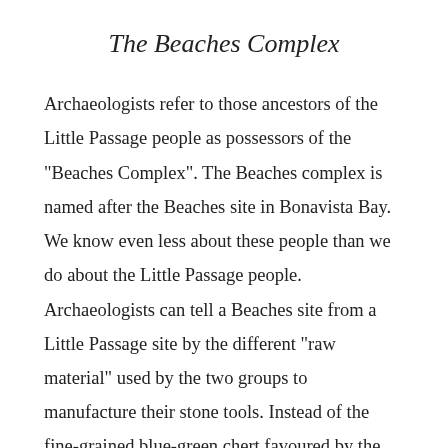The Beaches Complex
Archaeologists refer to those ancestors of the Little Passage people as possessors of the "Beaches Complex". The Beaches complex is named after the Beaches site in Bonavista Bay. We know even less about these people than we do about the Little Passage people. Archaeologists can tell a Beaches site from a Little Passage site by the different "raw material" used by the two groups to manufacture their stone tools. Instead of the fine-grained blue-green chert favoured by the Little Passage toolmakers, the Beaches people preferred coarser grained black and brown cherts and a relatively